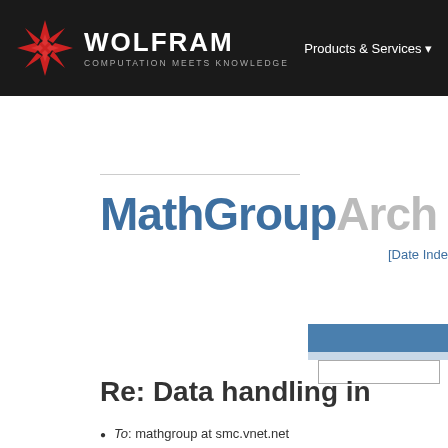Wolfram | COMPUTATION MEETS KNOWLEDGE | Products & Services
MathGroupArchive
[Date Inde
Re: Data handling in
To: mathgroup at smc.vnet.net
Subject: [mg5691] Re: [mg5662] Data hand
From: buttgereit at t-online.de (Peter Buttg